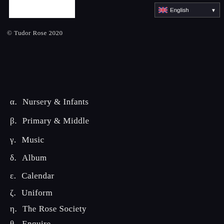© Tudor Rose 2020
α. Nursery & Infants
β. Primary & Middle
γ. Music
δ. Album
ε. Calendar
ζ. Uniform
η. The Rose Society
θ. Enquire